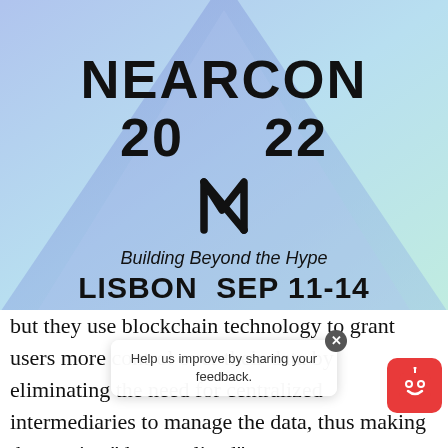[Figure (illustration): NEARCON 2022 event banner with blue/teal gradient background, triangle/diamond shape, NEAR logo, text reading 'NEARCON 20 22', 'Building Beyond the Hype', 'LISBON SEP 11-14']
but they use blockchain technology to grant users more control over their data by eliminating the need for centralized intermediaries to manage the data, thus making the service "decentralized"
Digital apps are ubiquitous in today's world. Consumers use apps for sending email